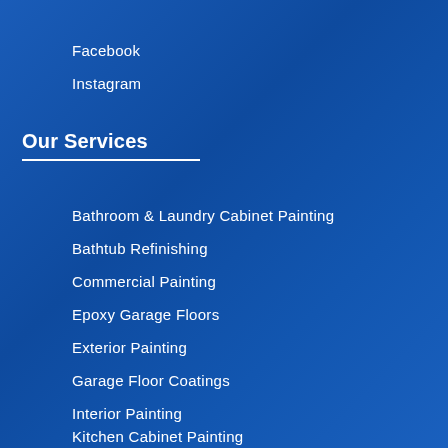Facebook
Instagram
Our Services
Bathroom & Laundry Cabinet Painting
Bathtub Refinishing
Commercial Painting
Epoxy Garage Floors
Exterior Painting
Garage Floor Coatings
Interior Painting
Kitchen Cabinet Painting